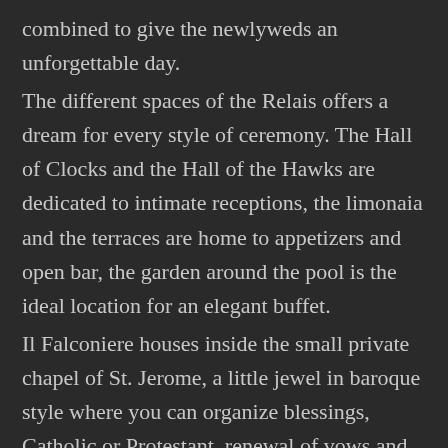combined to give the newlyweds an unforgettable day.
The different spaces of the Relais offers a dream for every style of ceremony. The Hall of Clocks and the Hall of the Hawks are dedicated to intimate receptions, the limonaia and the terraces are home to appetizers and open bar, the garden around the pool is the ideal location for an elegant buffet.
Il Falconiere houses inside the small private chapel of St. Jerome, a little jewel in baroque style where you can organize blessings, Catholic or Protestant, renewal of vows and anniversaries, and in the intimate atmosphere of a Tuscan chapel. An alternative special is the possibility of organizing a